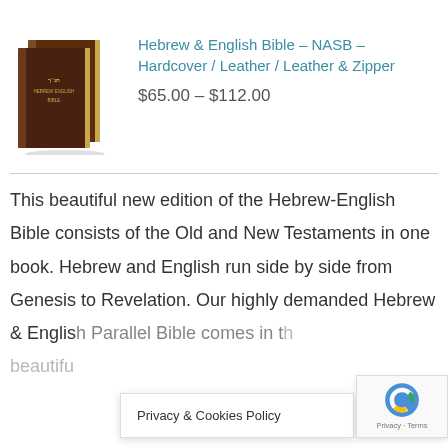[Figure (photo): Two dark brown leather-bound Hebrew-English Bible books shown side by side]
Hebrew & English Bible – NASB – Hardcover / Leather / Leather & Zipper
$65.00 – $112.00
This beautiful new edition of the Hebrew-English Bible consists of the Old and New Testaments in one book. Hebrew and English run side by side from Genesis to Revelation. Our highly demanded Hebrew & English Parallel Bible comes in the beautiful
Privacy & Cookies Policy